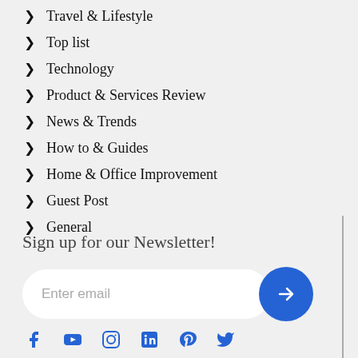Travel & Lifestyle
Top list
Technology
Product & Services Review
News & Trends
How to & Guides
Home & Office Improvement
Guest Post
General
Sign up for our Newsletter!
Enter email